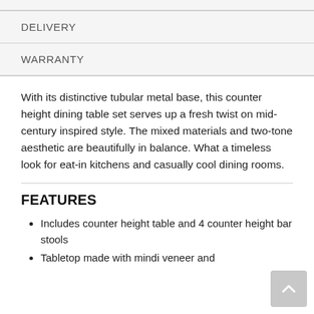DELIVERY
WARRANTY
With its distinctive tubular metal base, this counter height dining table set serves up a fresh twist on mid-century inspired style. The mixed materials and two-tone aesthetic are beautifully in balance. What a timeless look for eat-in kitchens and casually cool dining rooms.
FEATURES
Includes counter height table and 4 counter height bar stools
Tabletop made with mindi veneer and